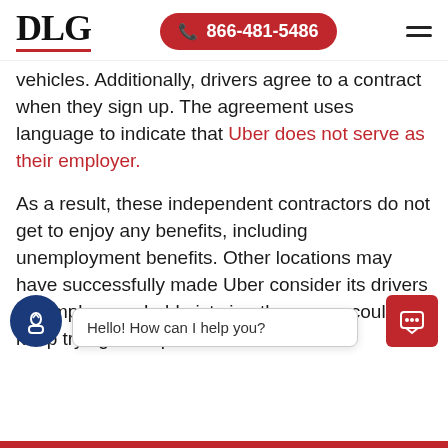DLG | 866-481-5486
vehicles. Additionally, drivers agree to a contract when they sign up. The agreement uses language to indicate that Uber does not serve as their employer.
As a result, these independent contractors do not get to enjoy any benefits, including unemployment benefits. Other locations may have successfully made Uber consider its drivers as employees. Lobbyists in other areas could keep trying to help dri... [continues]